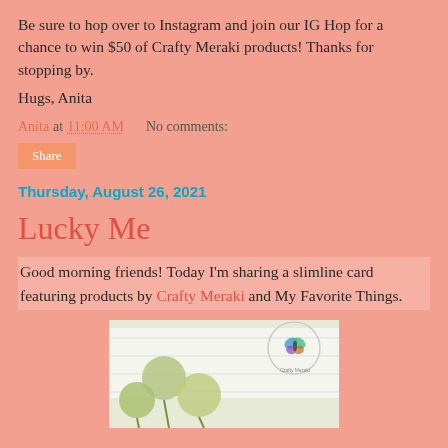Be sure to hop over to Instagram and join our IG Hop for a chance to win $50 of Crafty Meraki products!  Thanks for stopping by.
Hugs, Anita
Anita at 11:00 AM    No comments:
Share
Thursday, August 26, 2021
Lucky Me
Good morning friends!  Today I'm sharing a slimline card featuring products by Crafty Meraki and My Favorite Things.
[Figure (photo): Photo of a handmade slimline card with green pom-pom flowers on a white surface, with a Crafty Meraki butterfly logo stamp in the corner.]